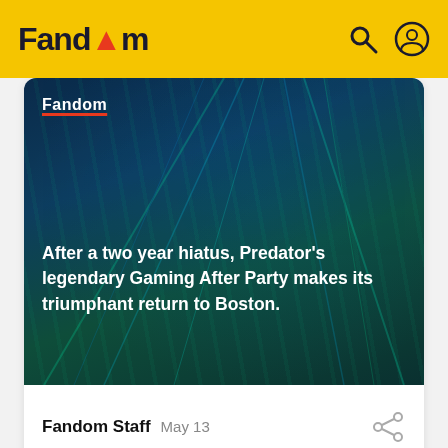Fandom
[Figure (photo): Dark blue/teal concert or gaming event scene with light beams and crowd in background, labeled Fandom. Text overlay: After a two year hiatus, Predator's legendary Gaming After Party makes its triumphant return to Boston.]
Fandom Staff  May 13
[Figure (photo): Dark gaming-themed image with orange and blue glowing elements, labeled GAMES, partially visible at bottom of page.]